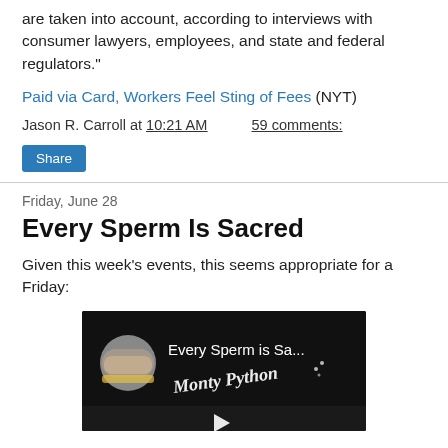are taken into account, according to interviews with consumer lawyers, employees, and state and federal regulators."
Paid via Card, Workers Feel Sting of Fees (NYT)
Jason R. Carroll at 10:21 AM   59 comments:
Share
Friday, June 28
Every Sperm Is Sacred
Given this week's events, this seems appropriate for a Friday:
[Figure (screenshot): YouTube video thumbnail showing 'Every Sperm is Sa...' Monty Python video with play button]